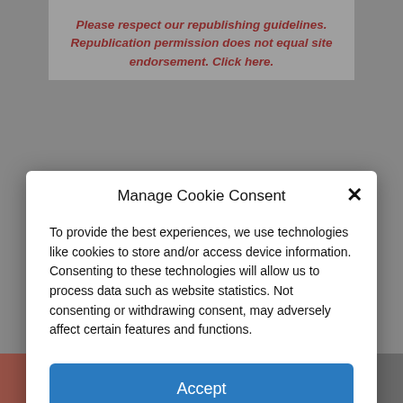Please respect our republishing guidelines. Republication permission does not equal site endorsement. Click here.
Manage Cookie Consent
To provide the best experiences, we use technologies like cookies to store and/or access device information. Consenting to these technologies will allow us to process data such as website statistics. Not consenting or withdrawing consent, may adversely affect certain features and functions.
Accept
Cookie Policy   Privacy Policy
The Uprising -